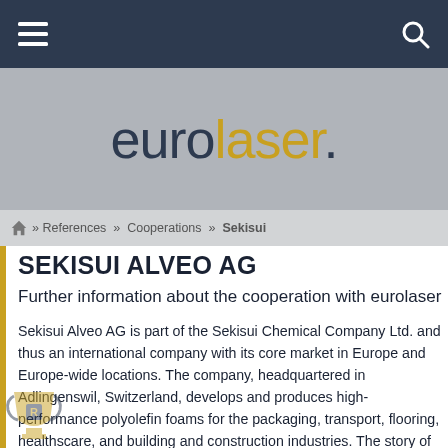eurolaser — navigation header
[Figure (logo): eurolaser logo in dark blue and gold on grey background]
» References » Cooperations » Sekisui
SEKISUI ALVEO AG
Further information about the cooperation with eurolaser
Sekisui Alveo AG is part of the Sekisui Chemical Company Ltd. and thus an international company with its core market in Europe and Europe-wide locations. The company, headquartered in Adlingenswil, Switzerland, develops and produces high-performance polyolefin foams for the packaging, transport, flooring, healthscare, and building and construction industries. The story of